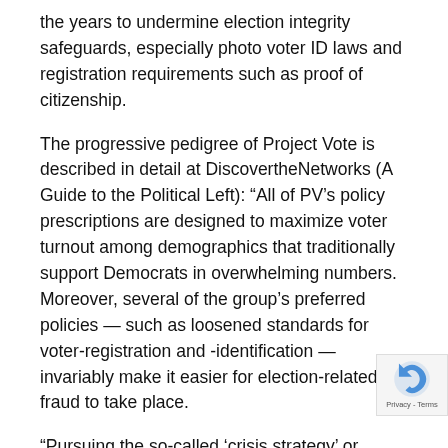the years to undermine election integrity safeguards, especially photo voter ID laws and registration requirements such as proof of citizenship.
The progressive pedigree of Project Vote is described in detail at DiscovertheNetworks (A Guide to the Political Left): “All of PV’s policy prescriptions are designed to maximize voter turnout among demographics that traditionally support Democrats in overwhelming numbers. Moreover, several of the group’s preferred policies — such as loosened standards for voter-registration and -identification — invariably make it easier for election-related fraud to take place.
“Pursuing the so-called ‘crisis strategy’ or Cloward-Piven Strategy pioneered during the 1960s by political scientists Richard Cloward and Frances Fox Piven… PV’s objective is to overwhelm, paralyze, and